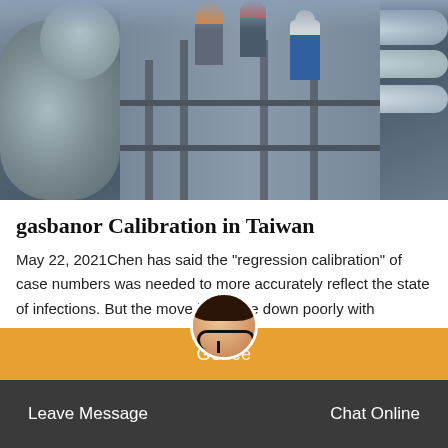[Figure (photo): Industrial workers on scaffolding/stairs at a large industrial facility with pipes and metal structures. Three workers visible: one with orange helmet, one with red cap, one in blue coveralls.]
gasbanor Calibration in Taiwan
May 22, 2021Chen has said the "regression calibration" of case numbers was needed to more accurately reflect the state of infections. But the move has gone down poorly with Taiwan's opposition parties, who